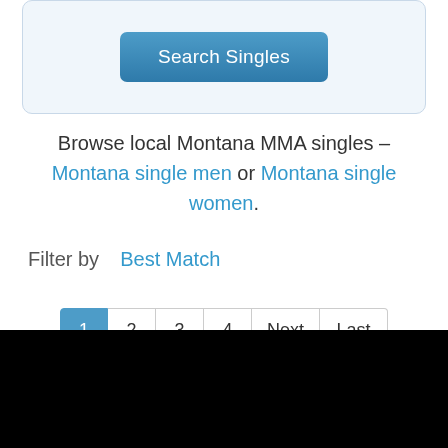[Figure (screenshot): Search Singles button inside a light blue rounded box]
Browse local Montana MMA singles – Montana single men or Montana single women.
Filter by  Best Match
[Figure (screenshot): Pagination bar with pages 1 (active), 2, 3, 4, Next, Last]
[Figure (photo): Partial photo of a blonde person, with a red X close button, bottom portion covered by black bar]